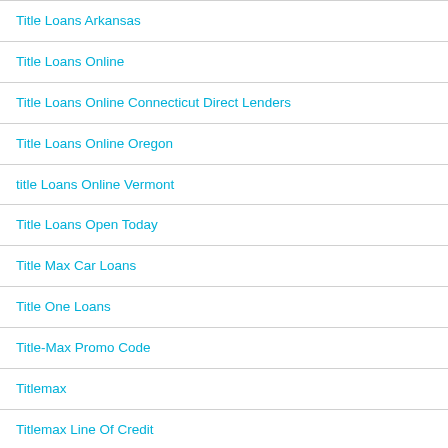Title Loans Arkansas
Title Loans Online
Title Loans Online Connecticut Direct Lenders
Title Loans Online Oregon
title Loans Online Vermont
Title Loans Open Today
Title Max Car Loans
Title One Loans
Title-Max Promo Code
Titlemax
Titlemax Line Of Credit
Titlemax Reviews